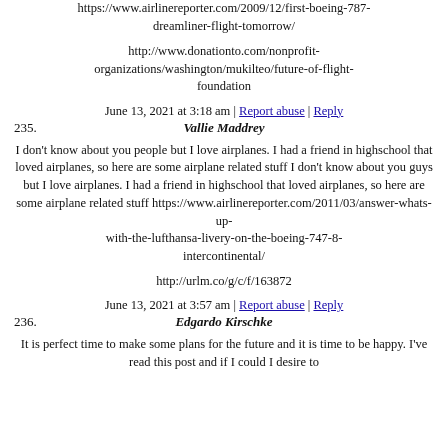https://www.airlinereporter.com/2009/12/first-boeing-787-dreamliner-flight-tomorrow/
http://www.donationto.com/nonprofit-organizations/washington/mukilteo/future-of-flight-foundation
June 13, 2021 at 3:18 am | Report abuse | Reply
235. Vallie Maddrey
I don't know about you people but I love airplanes. I had a friend in highschool that loved airplanes, so here are some airplane related stuff I don't know about you guys but I love airplanes. I had a friend in highschool that loved airplanes, so here are some airplane related stuff https://www.airlinereporter.com/2011/03/answer-whats-up-with-the-lufthansa-livery-on-the-boeing-747-8-intercontinental/
http://urlm.co/g/c/f/163872
June 13, 2021 at 3:57 am | Report abuse | Reply
236. Edgardo Kirschke
It is perfect time to make some plans for the future and it is time to be happy. I've read this post and if I could I desire to